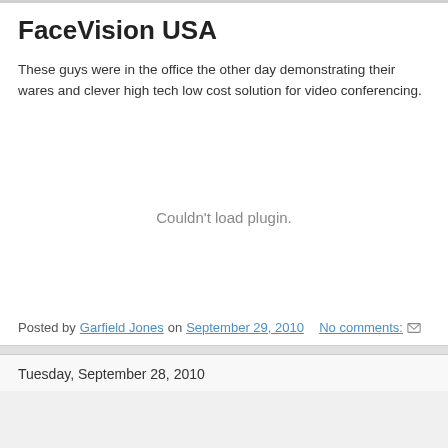FaceVision USA
These guys were in the office the other day demonstrating their wares and clever high tech low cost solution for video conferencing.
[Figure (other): Embedded plugin area showing 'Couldn't load plugin.' message]
Posted by Garfield Jones on September 29, 2010   No comments:
Tuesday, September 28, 2010